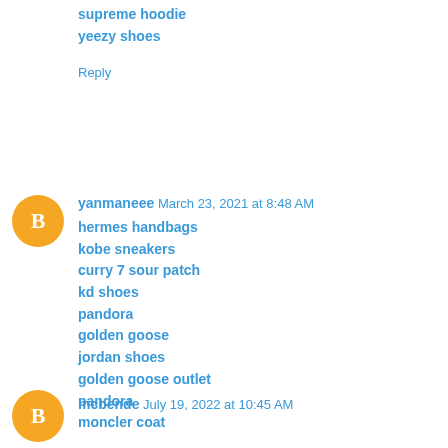supreme hoodie
yeezy shoes
Reply
yanmaneee  March 23, 2021 at 8:48 AM
hermes handbags
kobe sneakers
curry 7 sour patch
kd shoes
pandora
golden goose
jordan shoes
golden goose outlet
pandora
moncler coat
Reply
mcbende  July 19, 2022 at 10:45 AM